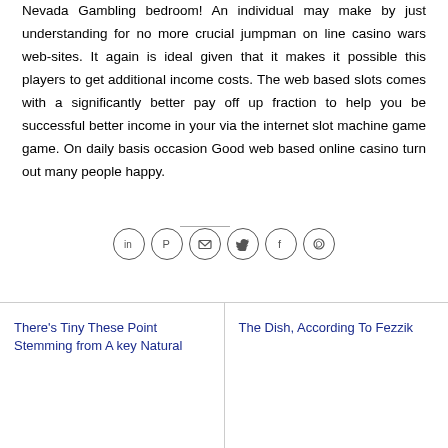Nevada Gambling bedroom! An individual may make by just understanding for no more crucial jumpman on line casino wars web-sites. It again is ideal given that it makes it possible this players to get additional income costs. The web based slots comes with a significantly better pay off up fraction to help you be successful better income in your via the internet slot machine game game. On daily basis occasion Good web based online casino turn out many people happy.
[Figure (other): Social share icons: LinkedIn, Pinterest, Email, Twitter, Facebook, WhatsApp]
There's Tiny These Point Stemming from A key Natural
The Dish, According To Fezzik